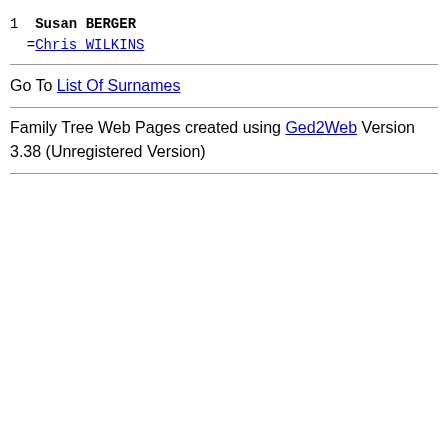1  Susan BERGER
  =Chris WILKINS
Go To List Of Surnames
Family Tree Web Pages created using Ged2Web Version 3.38 (Unregistered Version)